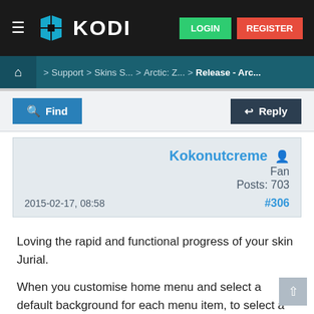[Figure (screenshot): Kodi forum website header with logo, LOGIN and REGISTER buttons]
Home > Support > Skins S... > Arctic: Z... > Release - Arc...
Find    Reply
Kokonutcreme Fan Posts: 703
2015-02-17, 08:58  #306
Loving the rapid and functional progress of your skin Jurial.

When you customise home menu and select a default background for each menu item, to select a single or multi image it defaults to your file manager source libraries so you cant navigate to where you have image